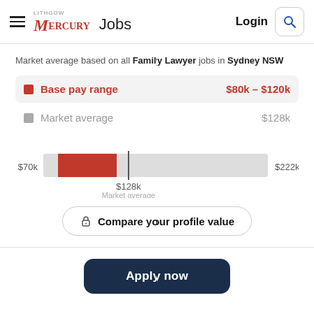Lithgow Mercury Jobs — Login [search]
Market average based on all Family Lawyer jobs in Sydney NSW
Base pay range   $80k – $120k
Market average   $128k
[Figure (bar-chart): Horizontal bar showing base pay range $80k-$120k in red overlaid on full market range $70k-$222k in gray. Marker at $128k for market average.]
Compare your profile value
Apply now